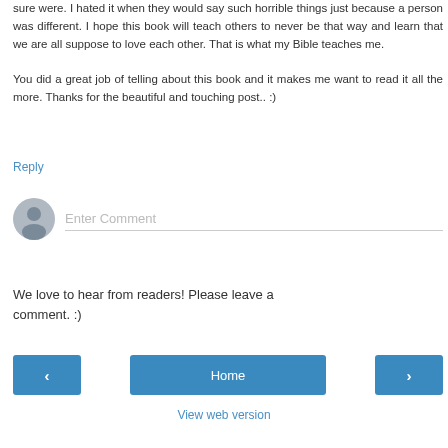sure were. I hated it when they would say such horrible things just because a person was different. I hope this book will teach others to never be that way and learn that we are all suppose to love each other. That is what my Bible teaches me.
You did a great job of telling about this book and it makes me want to read it all the more. Thanks for the beautiful and touching post.. :)
Reply
[Figure (other): User avatar icon - grey silhouette of a person in a circular grey background]
Enter Comment
We love to hear from readers! Please leave a comment. :)
‹
Home
›
View web version